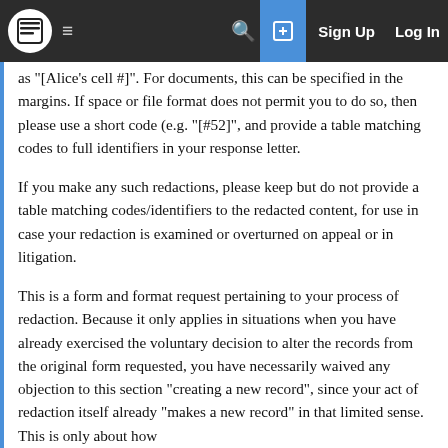Navigation bar with logo, menu, search, sign up, log in
as "[Alice's cell #]". For documents, this can be specified in the margins. If space or file format does not permit you to do so, then please use a short code (e.g. "[#52]", and provide a table matching codes to full identifiers in your response letter.
If you make any such redactions, please keep but do not provide a table matching codes/identifiers to the redacted content, for use in case your redaction is examined or overturned on appeal or in litigation.
This is a form and format request pertaining to your process of redaction. Because it only applies in situations when you have already exercised the voluntary decision to alter the records from the original form requested, you have necessarily waived any objection to this section "creating a new record", since your act of redaction itself already "makes a new record" in that limited sense. This is only about how